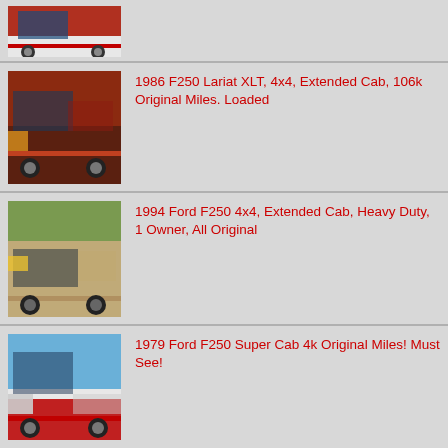[Figure (photo): Partial view of a red and white Ford pickup truck, cropped at top]
[Figure (photo): Red 1986 Ford F250 Lariat XLT 4x4 Extended Cab truck, front 3/4 view]
1986 F250 Lariat XLT, 4x4, Extended Cab, 106k Original Miles. Loaded
[Figure (photo): Tan/cream 1994 Ford F250 4x4 Extended Cab truck, front 3/4 view]
1994 Ford F250 4x4, Extended Cab, Heavy Duty, 1 Owner, All Original
[Figure (photo): Red and white 1979 Ford F250 Super Cab truck, front 3/4 view]
1979 Ford F250 Super Cab 4k Original Miles! Must See!